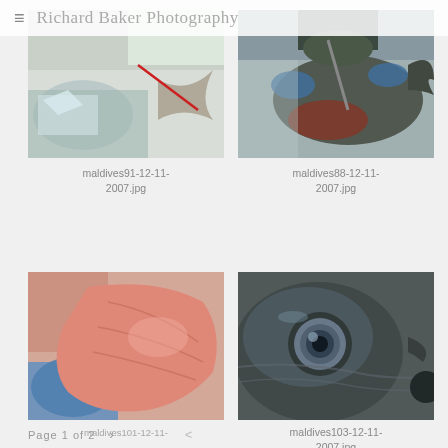Richard Baker Photography
[Figure (photo): Person in white coat and blue gloves handling a large fish (tuna) on a stainless steel table, with ice visible]
maldives91-12-11-2007.jpg
[Figure (photo): Person cutting/processing a large tuna fish on a stainless steel surface, overhead view]
maldives88-12-11-2007.jpg
[Figure (photo): Close-up of a raw tuna steak/fillet being held with blue gloved hands]
maldives101-12-11-2007.jpg (partially visible)
[Figure (photo): Extreme close-up of a tuna fish eye and head, dark coloring with metallic sheen]
maldives103-12-11-2007.jpg
Page 1 of 2  >  <